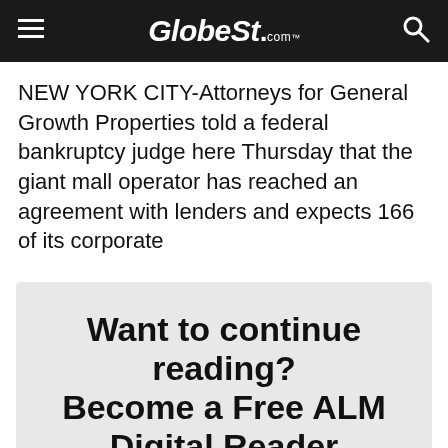GlobeSt.com
NEW YORK CITY-Attorneys for General Growth Properties told a federal bankruptcy judge here Thursday that the giant mall operator has reached an agreement with lenders and expects 166 of its corporate
Want to continue reading? Become a Free ALM Digital Reader